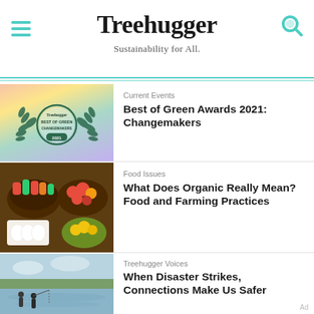Treehugger — Sustainability for All.
[Figure (screenshot): Treehugger Best of Green Changemakers 2021 award badge with laurel wreath on colorful gradient background]
Current Events
Best of Green Awards 2021: Changemakers
[Figure (photo): Overhead view of bowls of fresh vegetables and eggs at a market]
Food Issues
What Does Organic Really Mean? Food and Farming Practices
[Figure (photo): Flooded park or field with people sitting by water's edge]
Treehugger Voices
When Disaster Strikes, Connections Make Us Safer